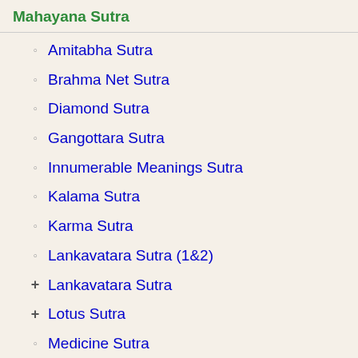Mahayana Sutra
Amitabha Sutra
Brahma Net Sutra
Diamond Sutra
Gangottara Sutra
Innumerable Meanings Sutra
Kalama Sutra
Karma Sutra
Lankavatara Sutra (1&2)
Lankavatara Sutra
Lotus Sutra
Medicine Sutra
On the Heart Sutra